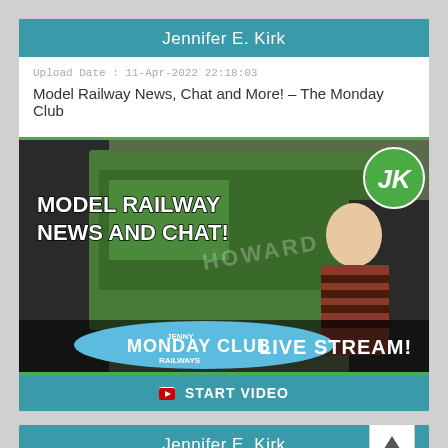Jennifer E. Kirk
Upload Date : 11-Apr-2022 22:18:03
Model Railway News, Chat and More! - The Monday Club
[Figure (screenshot): Thumbnail image for a YouTube video showing a green steam locomotive with text 'MODEL RAILWAY NEWS AND CHAT!' and 'LIVE STREAM!' overlaid, a man in a striped sweater standing beside the train, a 'JENNY MONDAY CLUB RAILWAYS' label at the bottom left, and a green circular 'JK' logo at the top right.]
START VIDEO
Jennifer E. Kirk
Upload Date : 10-Apr-2022 16:41:00